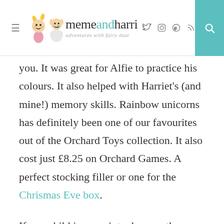memeandharri adventures with fairy dust
you. It was great for Alfie to practice his colours. It also helped with Harriet's (and mine!) memory skills. Rainbow unicorns has definitely been one of our favourites out of the Orchard Toys collection. It also cost just £8.25 on Orchard Games. A perfect stocking filler or one for the Chrismas Eve box.
If you child is more into dragons than unicorns. You can also buy this game in a Dragons and Knights theme. However at £8.25 you can even